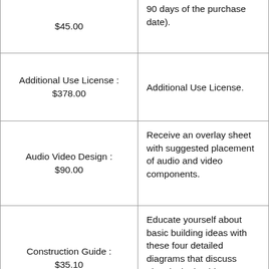| Item / Price | Description |
| --- | --- |
| $45.00 (partial) | 90 days of the purchase date). (partial) |
| Additional Use License : $378.00 | Additional Use License. |
| Audio Video Design : $90.00 | Receive an overlay sheet with suggested placement of audio and video components. |
| Construction Guide : $35.10 | Educate yourself about basic building ideas with these four detailed diagrams that discuss electrical, plumbing, mechanical, and structural topics. |
| Lighting Design : (partial) | Receive an overlay sheet with suggested (partial) |